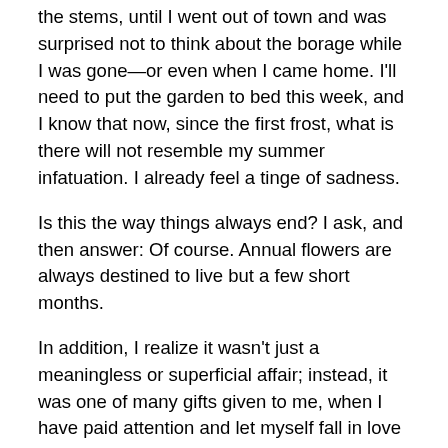the stems, until I went out of town and was surprised not to think about the borage while I was gone—or even when I came home. I'll need to put the garden to bed this week, and I know that now, since the first frost, what is there will not resemble my summer infatuation. I already feel a tinge of sadness.
Is this the way things always end? I ask, and then answer: Of course. Annual flowers are always destined to live but a few short months.
In addition, I realize it wasn't just a meaningless or superficial affair; instead, it was one of many gifts given to me, when I have paid attention and let myself fall in love with the natural world.
Winter approaches and along with it, the inside loves of my life. I must return to the hardy, four-season